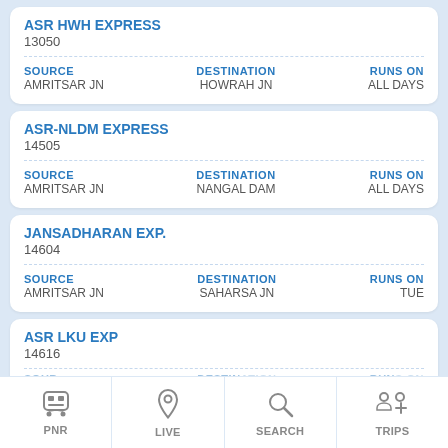ASR HWH EXPRESS
13050
SOURCE: AMRITSAR JN | DESTINATION: HOWRAH JN | RUNS ON: ALL DAYS
ASR-NLDM EXPRESS
14505
SOURCE: AMRITSAR JN | DESTINATION: NANGAL DAM | RUNS ON: ALL DAYS
JANSADHARAN EXP.
14604
SOURCE: AMRITSAR JN | DESTINATION: SAHARSA JN | RUNS ON: TUE
ASR LKU EXP
14616
SOURCE: AMRITSAR JN | DESTINATION: LALKUAN | RUNS ON: SAT
PNR | LIVE | SEARCH | TRIPS